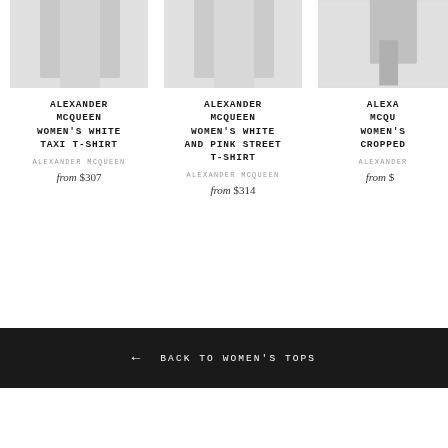[Figure (photo): Product image of Alexander McQueen Women's White Taxi T-Shirt, partially visible at top]
ALEXANDER MCQUEEN WOMEN'S WHITE TAXI T-SHIRT
ALEXANDER MCQUEEN
from $307
[Figure (photo): Product image of Alexander McQueen Women's White and Pink Street T-Shirt, partially visible at top]
ALEXANDER MCQUEEN WOMEN'S WHITE AND PINK STREET T-SHIRT
ALEXANDER MCQUEEN
from $314
[Figure (photo): Product image of Alexander McQueen Women's Cropped item, partially visible and cut off at right edge]
ALEXA MCQU WOMEN'S CROPPED
ALEXANDER
from $
← BACK TO WOMEN'S TOPS